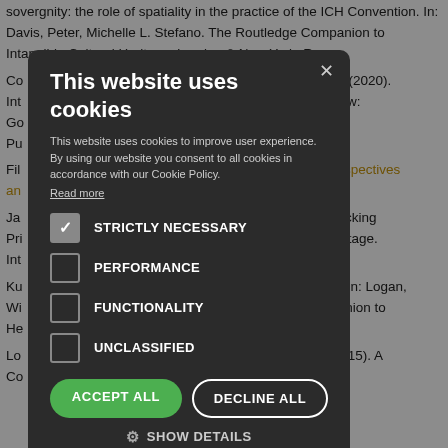sovergnity: the role of spatiality in the practice of the ICH Convention. In: Davis, Peter, Michelle L. Stefano. The Routledge Companion to Intangible Cultural Heritage. London & New York: Ro...
Co... nce (Eds.) (2020). Int... ernational Law: Go... ward Elgar Pu...
Fil... ages: Perspectives an...
Ja... – Interlocking Pri... ultural Heritage. Int... -87.
Ku... heritage. In: Logan, Wi... A Companion to He... 54.
Lo... Eds.) (2015). A Co... ckwell.
[Figure (screenshot): Cookie consent modal dialog on a dark semi-transparent overlay, with title 'This website uses cookies', body text about cookie policy, checkboxes for STRICTLY NECESSARY (checked), PERFORMANCE, FUNCTIONALITY, UNCLASSIFIED, and buttons ACCEPT ALL, DECLINE ALL, and SHOW DETAILS.]